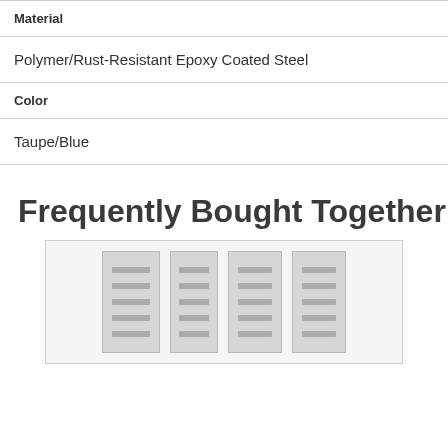| Material |
| --- |
| Polymer/Rust-Resistant Epoxy Coated Steel |
| Color |
| --- |
| Taupe/Blue |
Frequently Bought Together
[Figure (photo): Four product images side by side showing locker/storage units in a light gray color]